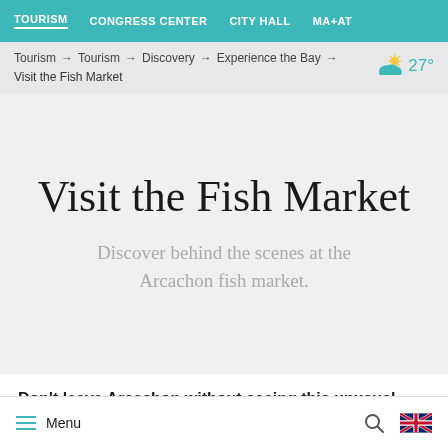TOURISM  CONGRESS CENTER  CITY HALL  MA+AT
Tourism → Tourism → Discovery → Experience the Bay → Visit the Fish Market
Visit the Fish Market
Discover behind the scenes at the Arcachon fish market.
Don't leave Arcachon without seeing this unusual spectacle:
Menu